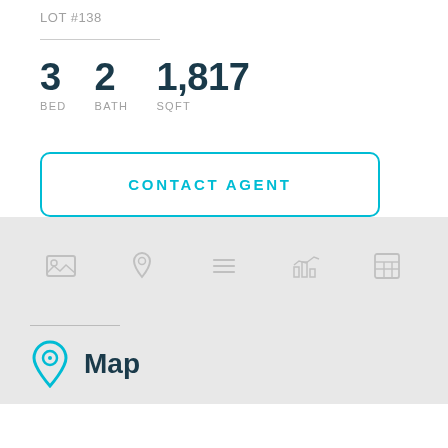LOT #138
| BED | BATH | SQFT |
| --- | --- | --- |
| 3 | 2 | 1,817 |
CONTACT AGENT
[Figure (infographic): Navigation icon bar with 5 icons: image/photo, map pin, list/menu, line chart with bars, calculator/spreadsheet]
Map